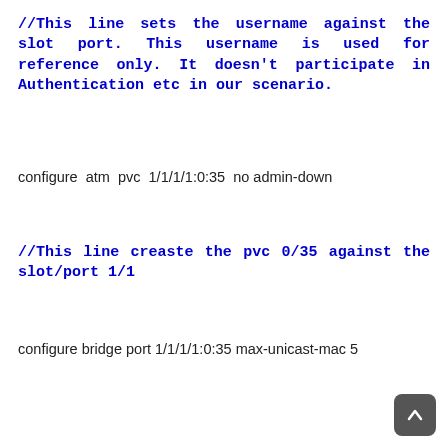//This line sets the username against the slot port. This username is used for reference only. It doesn’t participate in Authentication etc in our scenario.
configure atm pvc 1/1/1/1:0:35 no admin-down
//This line creaste the pvc 0/35 against the slot/port 1/1
configure bridge port 1/1/1/1:0:35 max-unicast-mac 5